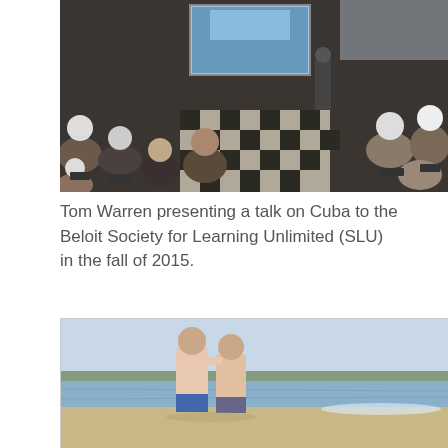[Figure (photo): A group of elderly people seated in chairs facing a presenter at the front of a room. A projection screen is visible at the front showing a blue image. The floor has a black and green checkered tile pattern.]
Tom Warren presenting a talk on Cuba to the Beloit Society for Learning Unlimited (SLU) in the fall of 2015.
[Figure (photo): Two older men standing shirtless on a sandy beach with calm water and tree line visible in the background. One man has his arm around the other.]